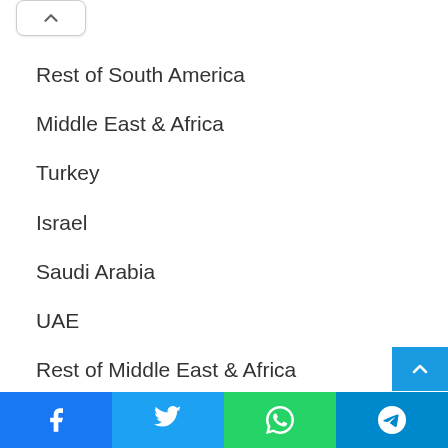Rest of South America
Middle East & Africa
Turkey
Israel
Saudi Arabia
UAE
Rest of Middle East & Africa
Competitor Analysis
Facebook | Twitter | WhatsApp | Telegram